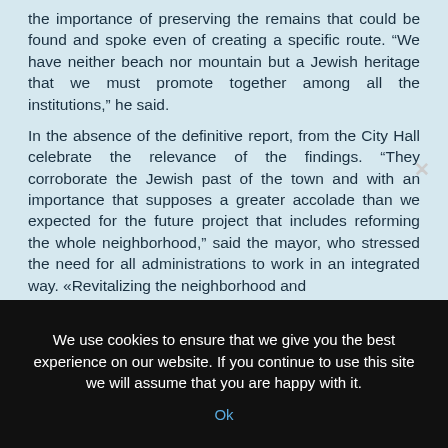the importance of preserving the remains that could be found and spoke even of creating a specific route. “We have neither beach nor mountain but a Jewish heritage that we must promote together among all the institutions,” he said.
In the absence of the definitive report, from the City Hall celebrate the relevance of the findings. “They corroborate the Jewish past of the town and with an importance that supposes a greater accolade than we expected for the future project that includes reforming the whole neighborhood,” said the mayor, who stressed the need for all administrations to work in an integrated way. «Revitalizing the neighborhood and
We use cookies to ensure that we give you the best experience on our website. If you continue to use this site we will assume that you are happy with it.
Ok